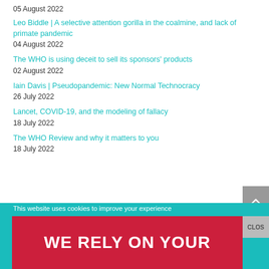05 August 2022
Leo Biddle | A selective attention gorilla in the coalmine, and lack of primate pandemic
04 August 2022
The WHO is using deceit to sell its sponsors' products
02 August 2022
Iain Davis | Pseudopandemic: New Normal Technocracy
26 July 2022
Lancet, COVID-19, and the modeling of fallacy
18 July 2022
The WHO Review and why it matters to you
18 July 2022
This website uses cookies to improve your experience
WE RELY ON YOUR